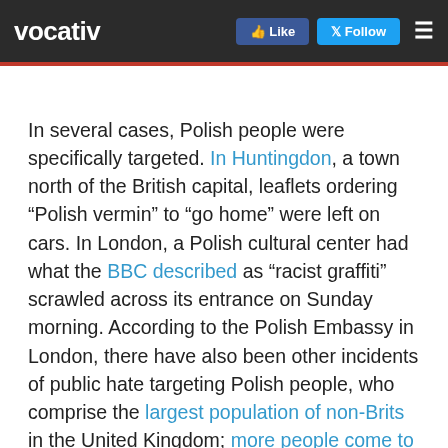vocativ
In several cases, Polish people were specifically targeted. In Huntingdon, a town north of the British capital, leaflets ordering “Polish vermin” to “go home” were left on cars. In London, a Polish cultural center had what the BBC described as “racist graffiti” scrawled across its entrance on Sunday morning. According to the Polish Embassy in London, there have also been other incidents of public hate targeting Polish people, who comprise the largest population of non-Brits in the United Kingdom; more people come to the UK from Poland than from any other EU country.